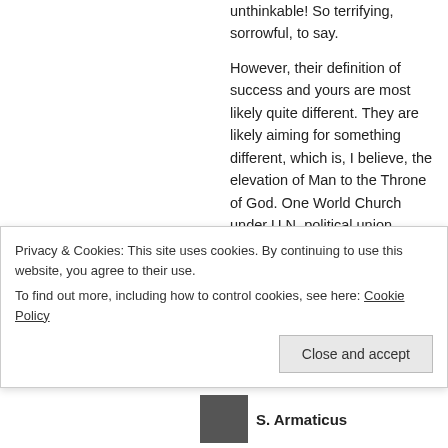unthinkable! So terrifying, sorrowful, to say.
However, their definition of success and yours are most likely quite different. They are likely aiming for something different, which is, I believe, the elevation of Man to the Throne of God. One World Church under U.N. political union.
I think they are quite pleased with their progress.
Yet silent forces are at work
Privacy & Cookies: This site uses cookies. By continuing to use this website, you agree to their use.
To find out more, including how to control cookies, see here: Cookie Policy
Close and accept
S. Armaticus